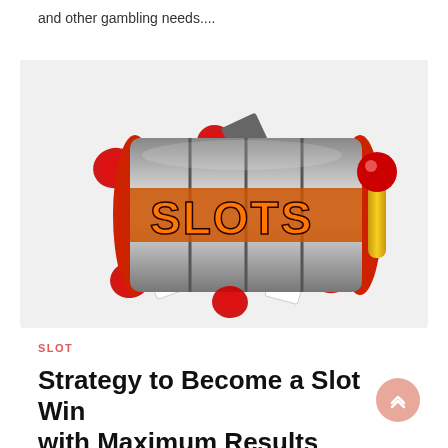and other gambling needs....
[Figure (illustration): A slot machine drum displaying the word SLOTS in orange letters on chrome reels, surrounded by flying red casino chips and playing cards on a light grey background.]
SLOT
Strategy to Become a Slot Win with Maximum Results